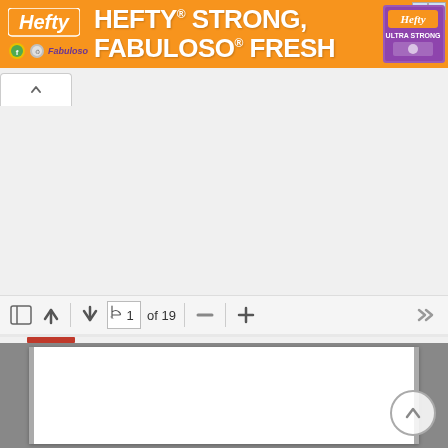[Figure (screenshot): Web browser screenshot showing a Hefty advertisement banner at top with orange background reading 'HEFTY STRONG, FABULOSO FRESH', followed by a browser tab, and a PDF viewer toolbar showing page 1 of 19 with navigation controls, and the beginning of a document page below.]
1 of 19